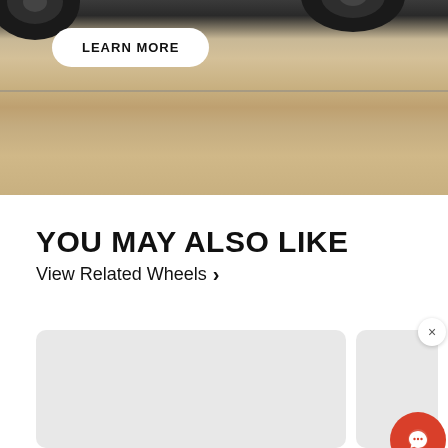[Figure (photo): Hero image showing vehicle tires/wheels close-up over a dirt/gravel surface, motion blurred background. A 'LEARN MORE' button pill overlaid on the image.]
YOU MAY ALSO LIKE
View Related Wheels >
[Figure (photo): Two product card placeholders side by side (light grey rounded rectangles). The right card has a close (×) button and a red circular chat button.]